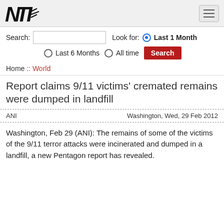NTI logo and navigation menu
Search:  Look for:  Last 1 Month  Last 6 Months  All time  Search
Home :: World
Report claims 9/11 victims' cremated remains were dumped in landfill
ANI    Washington, Wed, 29 Feb 2012
Washington, Feb 29 (ANI): The remains of some of the victims of the 9/11 terror attacks were incinerated and dumped in a landfill, a new Pentagon report has revealed.